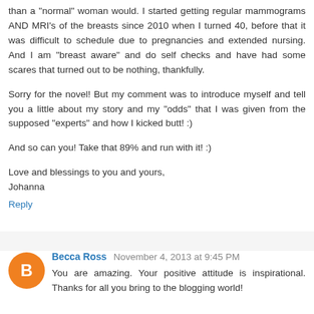than a "normal" woman would. I started getting regular mammograms AND MRI's of the breasts since 2010 when I turned 40, before that it was difficult to schedule due to pregnancies and extended nursing. And I am "breast aware" and do self checks and have had some scares that turned out to be nothing, thankfully.
Sorry for the novel! But my comment was to introduce myself and tell you a little about my story and my "odds" that I was given from the supposed "experts" and how I kicked butt! :)
And so can you! Take that 89% and run with it! :)
Love and blessings to you and yours,
Johanna
Reply
Becca Ross November 4, 2013 at 9:45 PM
You are amazing. Your positive attitude is inspirational. Thanks for all you bring to the blogging world!